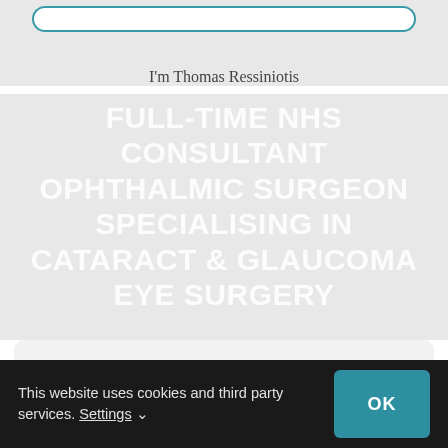I'm Thomas Ressiniotis
FULL-TIME NHS CONSULTANT OPHTHALMIC SURGEON SPECIALISING IN CATARACT & GLAUCOMA EYE SURGERY
Not every Ophthalmic Surgeon in
This website uses cookies and third party services. Settings ∨
OK